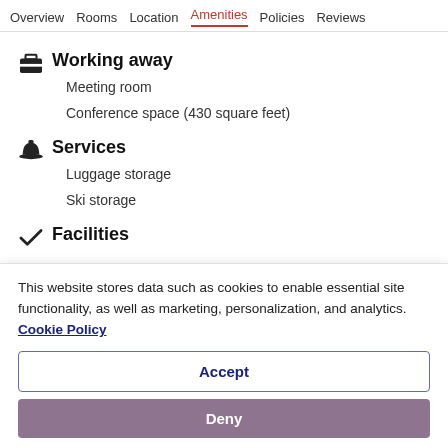Overview  Rooms  Location  Amenities  Policies  Reviews
Working away
Meeting room
Conference space (430 square feet)
Services
Luggage storage
Ski storage
Facilities
This website stores data such as cookies to enable essential site functionality, as well as marketing, personalization, and analytics. Cookie Policy
Accept
Deny